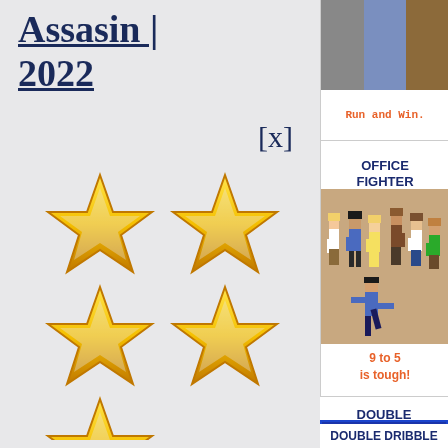Assasin | 2022
[x]
[Figure (illustration): Five gold/yellow outline stars arranged in a 2-2-1 pattern on a light gray background, representing a 5-star rating display.]
[Figure (illustration): Top-right advertisement: color swatches (gray, blue, brown)]
Run and Win.
OFFICE FIGHTER
[Figure (illustration): Pixel-art style illustration of office characters/people standing in a group on a tan background.]
9 to 5 is tough!
DOUBLE DRIBBLE
[Figure (screenshot): Screenshot of a basketball video game with blue court, scoreboard showing HUP, PERIOD, TIME: 2:55.]